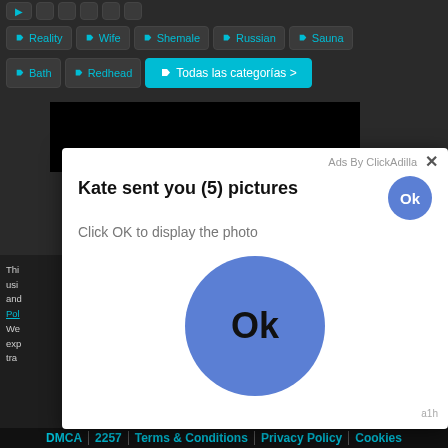[Figure (screenshot): Partial view of adult website navigation tag buttons, partially cut off at top: Reality, Wife, Shemale, Russian, Sauna; second row: Bath, Redhead, Todas las categorias >]
[Figure (screenshot): Black video player area]
[Figure (screenshot): Ad popup overlay from ClickAdilla: 'Kate sent you (5) pictures / Click OK to display the photo' with Ok buttons]
This website uses cookies and... Policy. We... exp... tra...
DMCA | 2257 | Terms & Conditions | Privacy Policy | Cookies